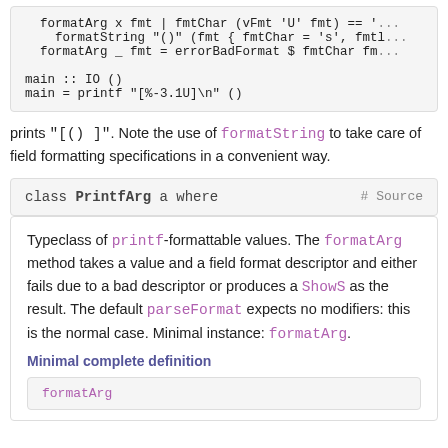[Figure (screenshot): Code block showing Haskell code: formatArg x fmt | fmtChar (vFmt 'U' fmt) == '...  formatString "()" (fmt { fmtChar = 's', fmtl...  formatArg _ fmt = errorBadFormat $ fmtChar fm...  main :: IO ()  main = printf "[%-3.1U]\n" ()]
prints "[()  ]". Note the use of formatString to take care of field formatting specifications in a convenient way.
[Figure (screenshot): Class header: class PrintfArg a where   # Source]
Typeclass of printf-formattable values. The formatArg method takes a value and a field format descriptor and either fails due to a bad descriptor or produces a ShowS as the result. The default parseFormat expects no modifiers: this is the normal case. Minimal instance: formatArg.
Minimal complete definition
[Figure (screenshot): Code block showing: formatArg]